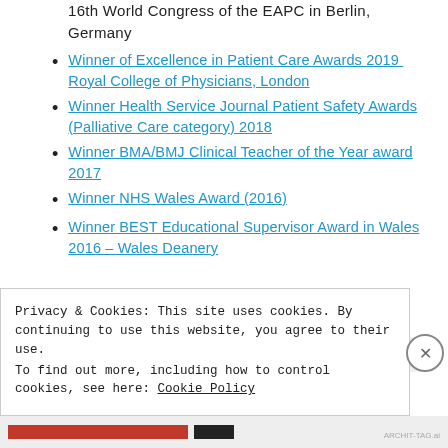16th World Congress of the EAPC in Berlin, Germany
Winner of Excellence in Patient Care Awards 2019 Royal College of Physicians, London
Winner Health Service Journal Patient Safety Awards (Palliative Care category) 2018
Winner BMA/BMJ Clinical Teacher of the Year award 2017
Winner NHS Wales Award (2016)
Winner BEST Educational Supervisor Award in Wales 2016 – Wales Deanery
Privacy & Cookies: This site uses cookies. By continuing to use this website, you agree to their use.
To find out more, including how to control cookies, see here: Cookie Policy
Close and accept